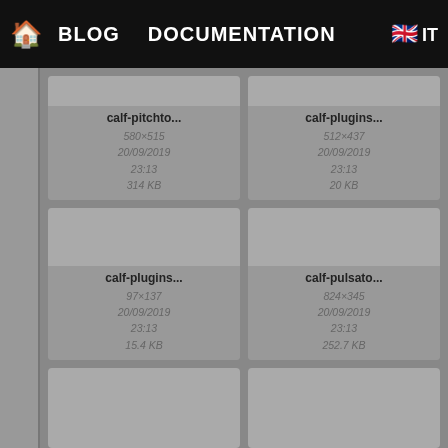🏠 BLOG   DOCUMENTATION   🇬🇧 IT
[Figure (screenshot): Thumbnail card for calf-pitchto... image, 580×515, 20/09/2019 23:13, 314 KB]
[Figure (screenshot): Thumbnail card for calf-plugins... image, 512×437, 20/09/2019 23:13, 20 KB]
[Figure (screenshot): Thumbnail card for calf-plugins... image, 97×137, 20/09/2019 23:13, 15.4 KB]
[Figure (screenshot): Thumbnail card for calf-pulsato... image, 824×345, 20/09/2019 23:13, 252.7 KB]
[Figure (screenshot): Thumbnail card bottom-left, partially visible]
[Figure (screenshot): Thumbnail card bottom-right, partially visible]